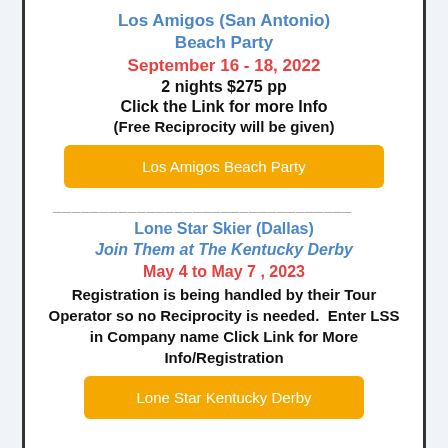Los Amigos (San Antonio)
Beach Party
September 16 - 18, 2022
2 nights $275 pp
Click the Link for more Info
(Free Reciprocity will be given)
[Figure (other): Orange button labeled 'Los Amigos Beach Party']
________________________________
Lone Star Skier (Dallas)
Join Them at The Kentucky Derby
May 4 to May 7 , 2023
Registration is being handled by their Tour Operator so no Reciprocity is needed.  Enter LSS in Company name
Click Link for More Info/Registration
[Figure (other): Orange button labeled 'Lone Star Kentucky Derby']